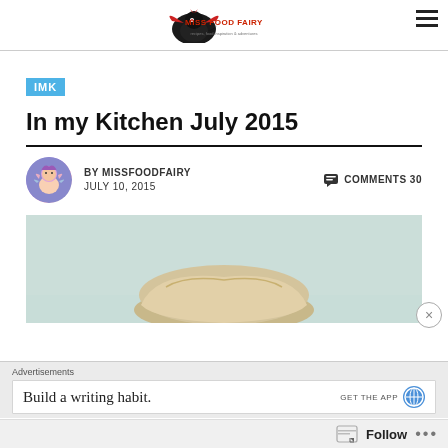Miss Food Fairy — recipes, food inspiration & adventures
IMK
In my Kitchen July 2015
BY MISSFOODFAIRY  JULY 10, 2015  COMMENTS 30
[Figure (photo): Featured blog post image showing a baked bread or pastry against a light mint/green background]
Advertisements
Build a writing habit.  GET THE APP